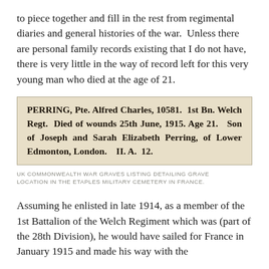to piece together and fill in the rest from regimental diaries and general histories of the war.  Unless there are personal family records existing that I do not have, there is very little in the way of record left for this very young man who died at the age of 21.
[Figure (other): Scanned excerpt from UK Commonwealth War Graves listing: PERRING, Pte. Alfred Charles, 10581. 1st Bn. Welch Regt. Died of wounds 25th June, 1915. Age 21. Son of Joseph and Sarah Elizabeth Perring, of Lower Edmonton, London. II. A. 12.]
UK COMMONWEALTH WAR GRAVES LISTING DETAILING GRAVE LOCATION IN THE ETAPLES MILITARY CEMETERY IN FRANCE.
Assuming he enlisted in late 1914, as a member of the 1st Battalion of the Welch Regiment which was (part of the 28th Division), he would have sailed for France in January 1915 and made his way with the